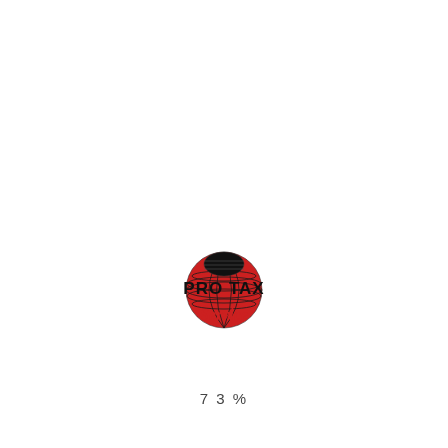[Figure (logo): Pro Tax Service logo: a red globe/sphere with grid lines, with bold black text 'PRO TAX' and red italic text 'Service' below]
7 3 %